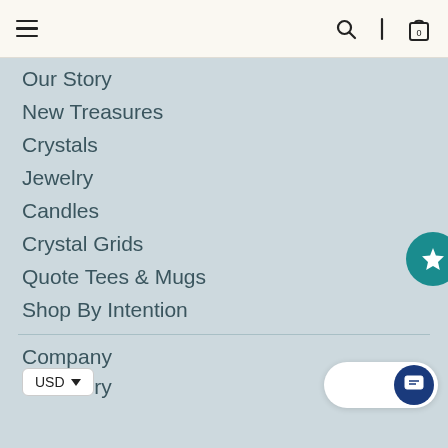Navigation header with hamburger menu, search icon, profile icon, and cart (0)
Our Story
New Treasures
Crystals
Jewelry
Candles
Crystal Grids
Quote Tees & Mugs
Shop By Intention
Company
Our Story